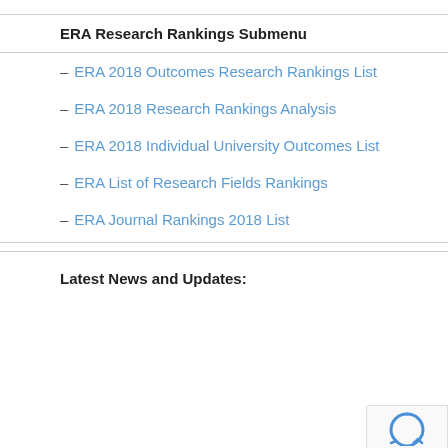ERA Research Rankings Submenu
– ERA 2018 Outcomes Research Rankings List
– ERA 2018 Research Rankings Analysis
– ERA 2018 Individual University Outcomes List
– ERA List of Research Fields Rankings
– ERA Journal Rankings 2018 List
Latest News and Updates: